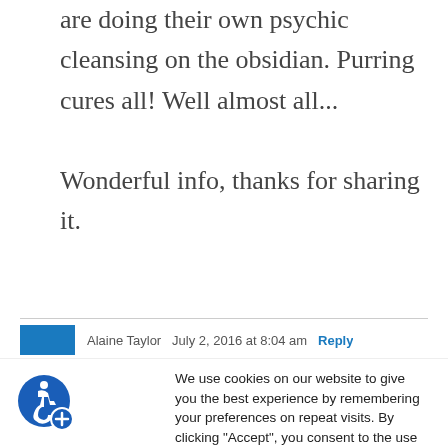are doing their own psychic cleansing on the obsidian. Purring cures all! Well almost all...

Wonderful info, thanks for sharing it.
Alaine Taylor   July 2, 2016 at 8:04 am   Reply
We use cookies on our website to give you the best experience by remembering your preferences on repeat visits. By clicking "Accept", you consent to the use of all our cookies.